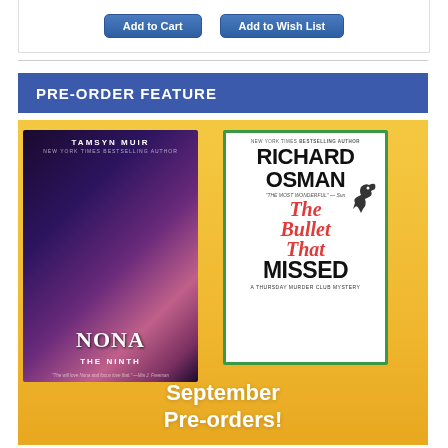[Figure (other): Top portion of a bookstore website showing two buttons: 'Add to Cart' and 'Add to Wish List' on a white card with border]
PRE-ORDER FEATURE
[Figure (illustration): Promotional banner with yellow/gold background showing two book covers: 'Nona the Ninth' by Tamsyn Muir (dark fantasy cover) and 'The Bullet That Missed' by Richard Osman (white cover with green border, a Thursday Murder Club Mystery), with text 'September Pre-orders!' at the bottom]